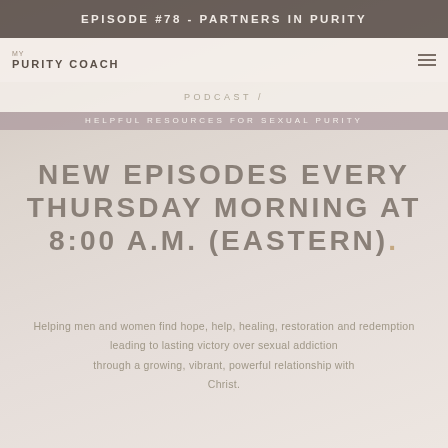EPISODE #78 - PARTNERS IN PURITY
MY PURITY COACH
PODCAST /
HELPFUL RESOURCES FOR SEXUAL PURITY
NEW EPISODES EVERY THURSDAY MORNING AT 8:00 A.M. (EASTERN).
Helping men and women find hope, help, healing, restoration and redemption leading to lasting victory over sexual addiction through a growing, vibrant, powerful relationship with Christ.